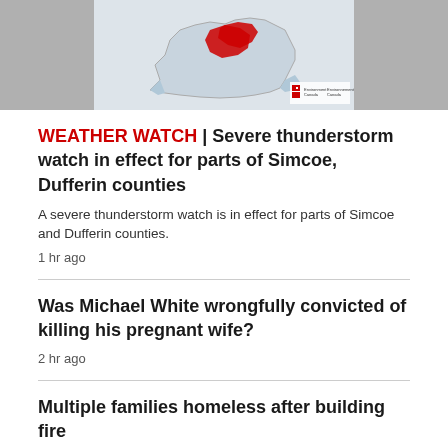[Figure (map): Map of Ontario showing highlighted region in red for Simcoe and Dufferin counties area, with Environment Canada / Environnement Canada logo in bottom right]
WEATHER WATCH | Severe thunderstorm watch in effect for parts of Simcoe, Dufferin counties
A severe thunderstorm watch is in effect for parts of Simcoe and Dufferin counties.
1 hr ago
Was Michael White wrongfully convicted of killing his pregnant wife?
2 hr ago
Multiple families homeless after building fire
2 hr ago